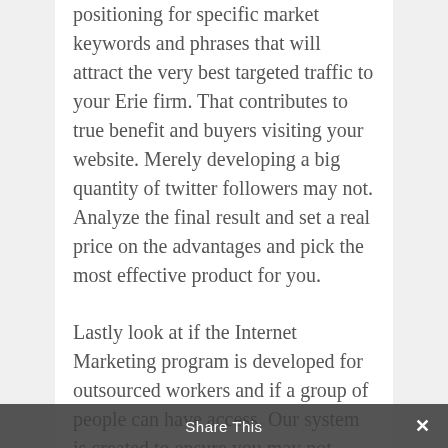positioning for specific market keywords and phrases that will attract the very best targeted traffic to your Erie firm. That contributes to true benefit and buyers visiting your website. Merely developing a big quantity of twitter followers may not. Analyze the final result and set a real price on the advantages and pick the most effective product for you.
Lastly look at if the Internet Marketing program is developed for outsourced workers and if a group of people can have access. Our system is created to ensure you may not authors and linking assistants
Share This ×